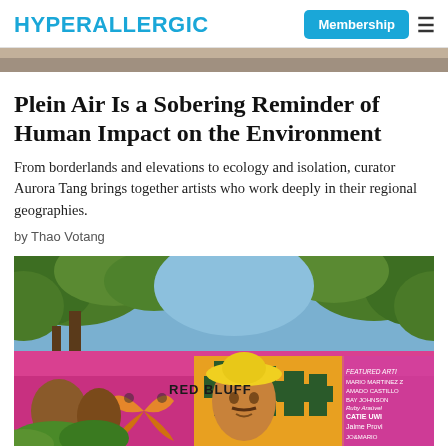HYPERALLERGIC | Membership ≡
[Figure (photo): Top cropped photo, partially visible landscape or outdoor scene]
Plein Air Is a Sobering Reminder of Human Impact on the Environment
From borderlands and elevations to ecology and isolation, curator Aurora Tang brings together artists who work deeply in their regional geographies.
by Thao Votang
[Figure (photo): Colorful outdoor mural on a wall, featuring a man with a yellow hat, butterfly motif, and text reading RED BLUFF. Featured artists listed on right side of mural including Mario Martinez, Amado Castillo, Bay Johnson, Ruby Aráuvel, Catie Uwi, Jaime Provi.]